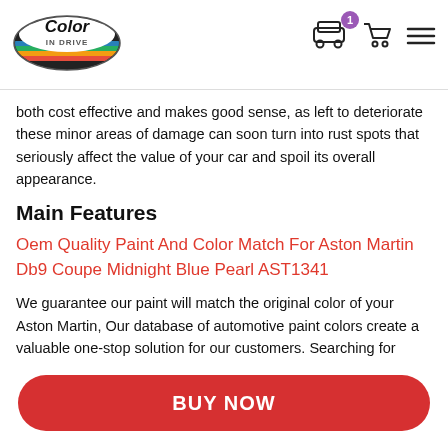Color In Drive logo with car and cart icons
both cost effective and makes good sense, as left to deteriorate these minor areas of damage can soon turn into rust spots that seriously affect the value of your car and spoil its overall appearance.
Main Features
Oem Quality Paint And Color Match For Aston Martin Db9 Coupe Midnight Blue Pearl AST1341
We guarantee our paint will match the original color of your Aston Martin, Our database of automotive paint colors create a valuable one-stop solution for our customers. Searching for touch-up paint through car dealers, auto part stores and collision repair shops can be quite difficult - we make finding and ordering car paint simple.
BUY NOW